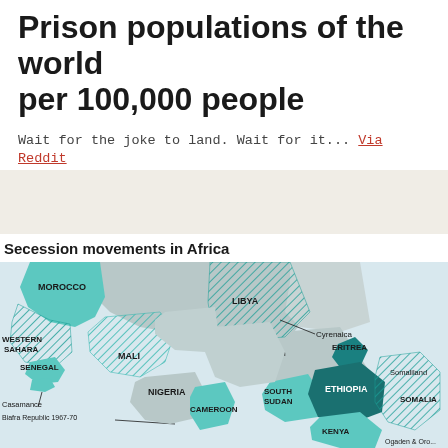Prison populations of the world per 100,000 people
Wait for the joke to land. Wait for it... Via Reddit
[Figure (map): Secession movements in Africa map showing regions including Morocco, Western Sahara, Senegal (Casamance), Mali (Northern region), Nigeria (Biafra Republic 1967-70), Cameroon, Libya (Cyrenaica), Eritrea, South Sudan, Ethiopia, Somaliland, Somalia (Ogaden & Oromo), Kenya highlighted in teal/cyan with diagonal hatching patterns indicating secession movements.]
Secession movements in Africa